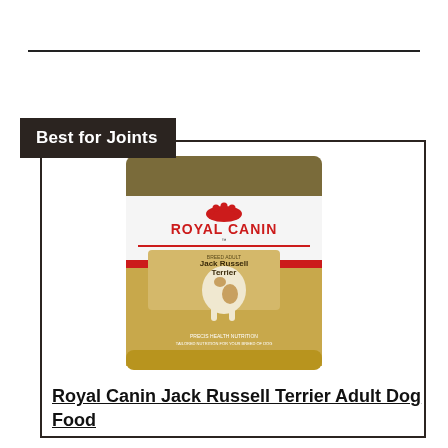Best for Joints
[Figure (photo): Royal Canin Jack Russell Terrier Adult Dog Food bag showing a Jack Russell Terrier dog on a gold and white bag with the Royal Canin logo]
Royal Canin Jack Russell Terrier Adult Dog Food